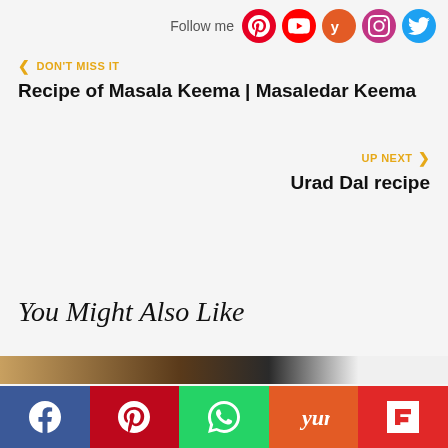Follow me [Pinterest] [YouTube] [Yummly] [Instagram] [Twitter]
DON'T MISS IT
Recipe of Masala Keema | Masaledar Keema
UP NEXT
Urad Dal recipe
You Might Also Like
[Facebook] [Pinterest] [WhatsApp] [Yummly] [Flipboard]